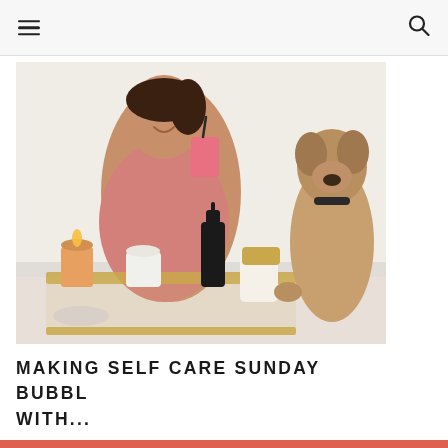☰  🔍
[Figure (photo): A woman wrapped in a pink towel sitting by a bathtub, holding a pink drink with a straw, smiling. Next to her is a gold-framed tray with candles, skincare products, and a French Bulldog reaching up to the tray.]
MAKING SELF CARE SUNDAY BUBBL WITH...